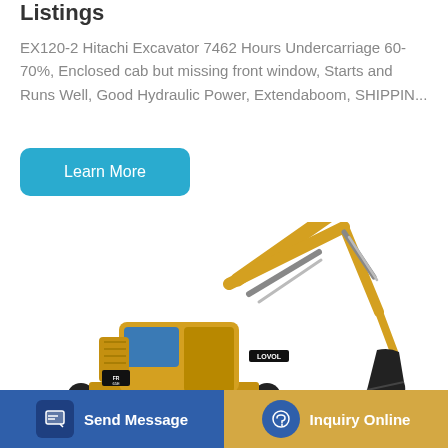Listings
EX120-2 Hitachi Excavator 7462 Hours Undercarriage 60-70%, Enclosed cab but missing front window, Starts and Runs Well, Good Hydraulic Power, Extendaboom, SHIPPIN...
[Figure (other): A blue rounded rectangle button with white text reading 'Learn More']
[Figure (photo): A yellow Lovol mini excavator with black tracks, extended boom arm with bucket attachment, photographed on white background]
[Figure (other): Bottom navigation bar with two buttons: 'Send Message' (dark blue with message icon) and 'Inquiry Online' (golden/amber with headset icon)]